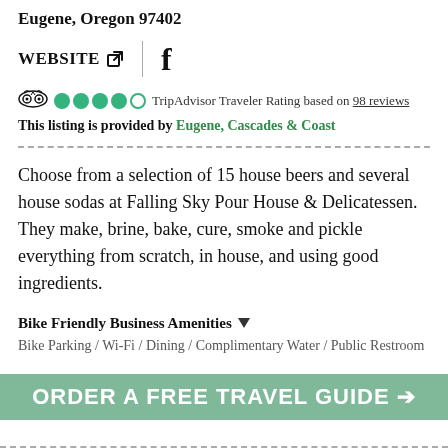770 Blair Blvd
Eugene, Oregon 97402
WEBSITE | f (Facebook)
TripAdvisor Traveler Rating based on 98 reviews
This listing is provided by Eugene, Cascades & Coast
Choose from a selection of 15 house beers and several house sodas at Falling Sky Pour House & Delicatessen. They make, brine, bake, cure, smoke and pickle everything from scratch, in house, and using good ingredients.
Bike Friendly Business Amenities
Bike Parking / Wi-Fi / Dining / Complimentary Water / Public Restroom
ORDER A FREE TRAVEL GUIDE →